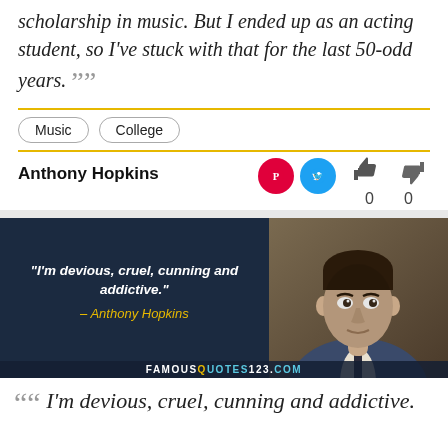scholarship in music. But I ended up as an acting student, so I've stuck with that for the last 50-odd years. ””
Music
College
Anthony Hopkins
[Figure (photo): Promotional image with quote: “I’m devious, cruel, cunning and addictive.” - Anthony Hopkins, with a photo of Anthony Hopkins and famousquotes123.com watermark]
““ I’m devious, cruel, cunning and addictive.